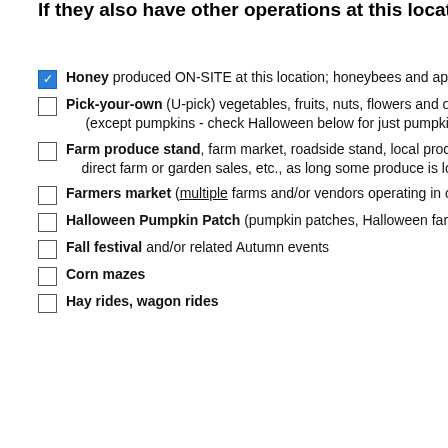[Figure (screenshot): Advertisement banner for Test Gauge Inc. — The Nations Preferred Source for Backflow Products & Services. Green gradient background with blue and white label strips, company logo with mountain/gauge imagery, green Shop Today button with arrow. Red X close button top right.]
[Figure (screenshot): Collapsed advertisement section with up-arrow tab on left and light-yellow ad content placeholder box on right.]
If they also have other operations at this location, please add them to this site!
Honey produced ON-SITE at this location; honeybees and apiaries
Pick-your-own (U-pick) vegetables, fruits, nuts, flowers and other crops (except pumpkins - check Halloween below for just pumpkins alone)
Farm produce stand, farm market, roadside stand, local produce market, direct farm or garden sales, etc., as long some produce is local
Farmers market (multiple farms and/or vendors operating in one venue)
Halloween Pumpkin Patch (pumpkin patches, Halloween farm events)
Fall festival and/or related Autumn events
Corn mazes
Hay rides, wagon rides